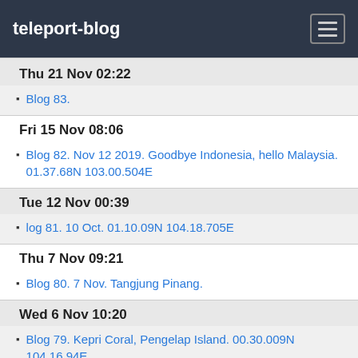teleport-blog
Thu 21 Nov 02:22
Blog 83.
Fri 15 Nov 08:06
Blog 82. Nov 12 2019. Goodbye Indonesia, hello Malaysia. 01.37.68N 103.00.504E
Tue 12 Nov 00:39
log 81. 10 Oct. 01.10.09N 104.18.705E
Thu 7 Nov 09:21
Blog 80. 7 Nov. Tangjung Pinang.
Wed 6 Nov 10:20
Blog 79. Kepri Coral, Pengelap Island. 00.30.009N 104.16.94E
Blog 78. 2 Nov 2019. Abang Island Anchorage. 00.34.061N 104.13.606E
Mon 4 Nov 04:15
Blog 77. 31 October. Benan. 00.27.85N 104.26.86E
Oct 2019